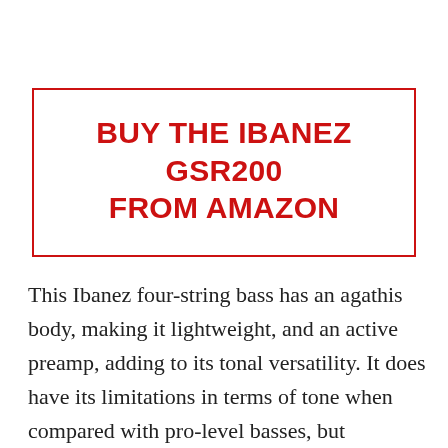BUY THE IBANEZ GSR200 FROM AMAZON
This Ibanez four-string bass has an agathis body, making it lightweight, and an active preamp, adding to its tonal versatility. It does have its limitations in terms of tone when compared with pro-level basses, but